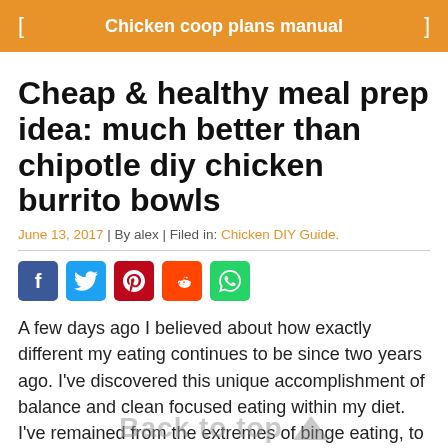Chicken coop plans manual
Cheap & healthy meal prep idea: much better than chipotle diy chicken burrito bowls
June 13, 2017 | By alex | Filed in: Chicken DIY Guide.
[Figure (other): Social share buttons: Facebook, Twitter, Pinterest, Reddit, WhatsApp]
A few days ago I believed about how exactly different my eating continues to be since two years ago. I've discovered this unique accomplishment of balance and clean focused eating within my diet. I've remained from the extremes of binge eating, to cheating and in some way just appear to stay in this happy place. Before I'd conceptualize what it really would